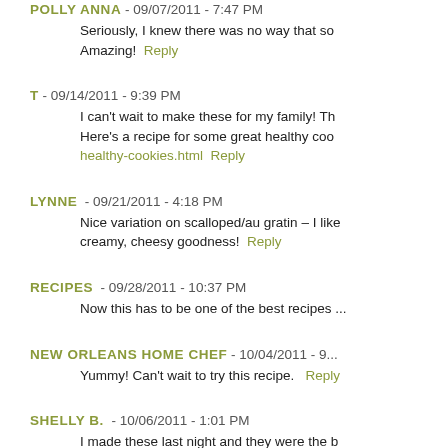POLLY ANNA - 09/07/2011 - 7:47 PM
Seriously, I knew there was no way that so... Amazing! Reply
T - 09/14/2011 - 9:39 PM
I can't wait to make these for my family! Th... Here's a recipe for some great healthy coo... healthy-cookies.html Reply
LYNNE - 09/21/2011 - 4:18 PM
Nice variation on scalloped/au gratin – I like... creamy, cheesy goodness! Reply
RECIPES - 09/28/2011 - 10:37 PM
Now this has to be one of the best recipes ...
NEW ORLEANS HOME CHEF - 10/04/2011 - 9...
Yummy! Can't wait to try this recipe. Reply
SHELLY B. - 10/06/2011 - 1:01 PM
I made these last night and they were the b... Thank you!!! Reply
JESSICA - 10/09/2011 - 11:01 AM
THESE ARE AMAZING...